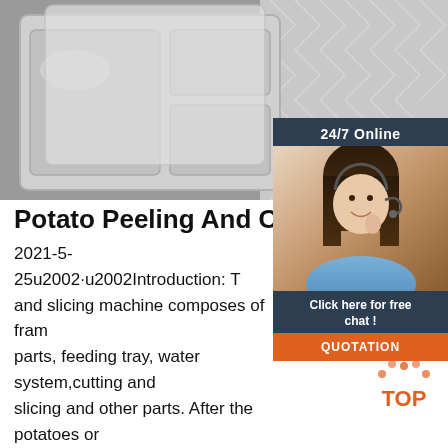[Figure (photo): Photo of stainless steel serving trays with compartments on a geometric patterned background.]
[Figure (photo): Customer service representative wearing headset with '24/7 Online' label, a 'Click here for free chat!' message, and an orange QUOTATION button.]
Potato Peeling And Cutting Ma
2021-5-25u2002·u2002Introduction: T... and slicing machine composes of fram... parts, feeding tray, water system,cutting and slicing and other parts. After the potatoes or other vegetables be put into the machine cylinder, rotating dial are constantly stir the potatoes and and peel the potatoes because of
[Figure (logo): Orange TOP badge with arrow icon]